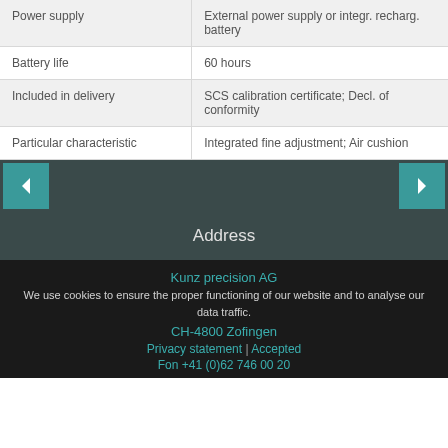| Property | Value |
| --- | --- |
| Power supply | External power supply or integr. recharg. battery |
| Battery life | 60 hours |
| Included in delivery | SCS calibration certificate; Decl. of conformity |
| Particular characteristic | Integrated fine adjustment; Air cushion |
Address
We use cookies to ensure the proper functioning of our website and to analyse our data traffic.
Kunz precision AG
CH-4800 Zofingen
Privacy statement | Accepted
Fon +41 (0)62 746 00 20